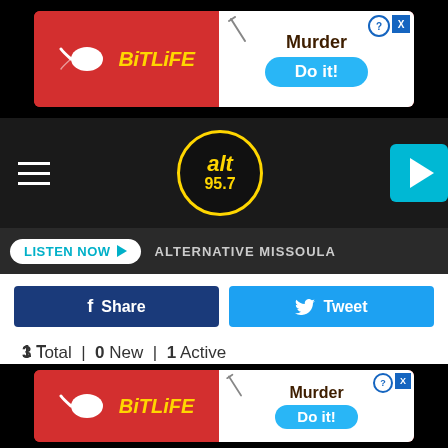[Figure (screenshot): BitLife advertisement banner at top of page with red background, sperm logo, yellow BitLife text, Murder headline and Do it! button]
[Figure (logo): alt 957 radio station logo - circular yellow border with alt 957 text on dark background]
LISTEN NOW ▶  ALTERNATIVE MISSOULA
Share
Tweet
3 Total  |  0 New  |  1 Active
Powell County Cases
10 Total  |  0 New  |  0 Active
Prairie County Cases
1 T...
[Figure (screenshot): BitLife advertisement banner at bottom of page with red background]